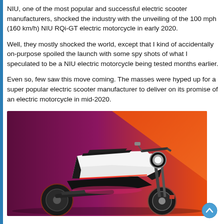NIU, one of the most popular and successful electric scooter manufacturers, shocked the industry with the unveiling of the 100 mph (160 km/h) NIU RQi-GT electric motorcycle in early 2020.
Well, they mostly shocked the world, except that I kind of accidentally on-purpose spoiled the launch with some spy shots of what I speculated to be a NIU electric motorcycle being tested months earlier.
Even so, few saw this move coming. The masses were hyped up for a super popular electric scooter manufacturer to deliver on its promise of an electric motorcycle in mid-2020.
[Figure (photo): NIU RQi-GT electric motorcycle rendered on a purple-to-orange gradient background. The bike is a sporty, futuristic-looking electric motorcycle with white and black bodywork and red accent lighting.]